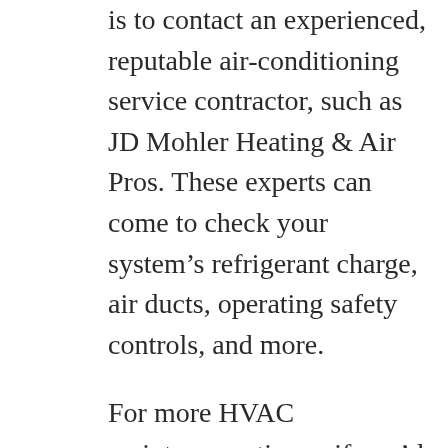is to contact an experienced, reputable air-conditioning service contractor, such as JD Mohler Heating & Air Pros. These experts can come to check your system's refrigerant charge, air ducts, operating safety controls, and more.
For more HVAC maintenance tips or if you'd like a heating and cooling system service appointment in your home, contact JD Mohler Heating & Air Pros today. JD Mohler Heating & Air Pros is licensed and insured. Our AC technicians will always fix the problem, without breaking your budget. We are dedicated to